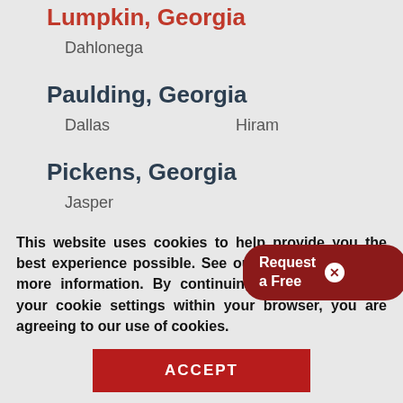Lumpkin, Georgia
Dahlonega
Paulding, Georgia
Dallas    Hiram
Pickens, Georgia
Jasper
Polk, Georgia
Aragon    Rock[...]
[Figure (screenshot): Popup button reading 'Request a Free' with a close (x) button, dark red rounded rectangle style]
This website uses cookies to help provide you the best experience possible. See our Privacy Policy for more information. By continuing without changing your cookie settings within your browser, you are agreeing to our use of cookies.
ACCEPT